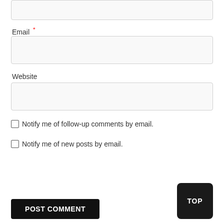[Figure (screenshot): Partial text input box at the top of the page (cropped form field)]
Email *
[Figure (screenshot): Email input text field (empty)]
Website
[Figure (screenshot): Website input text field (empty)]
Notify me of follow-up comments by email.
Notify me of new posts by email.
POST COMMENT
TOP